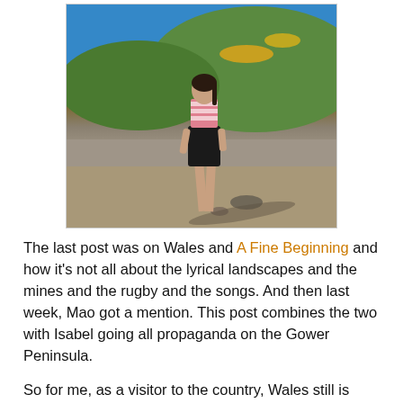[Figure (photo): A young woman walking barefoot on Rhossili Beach, Wales. She wears a pink and white striped top with a black skirt. Behind her are green hills and a blue sky. Her shadow stretches to the right on the sandy beach.]
The last post was on Wales and A Fine Beginning and how it's not all about the lyrical landscapes and the mines and the rugby and the songs. And then last week, Mao got a mention. This post combines the two with Isabel going all propaganda on the Gower Peninsula.
So for me, as a visitor to the country, Wales still is about the lyrical landscapes; especially the wildness and raw beauty of Rhossili Beach (pictured above), my favourite beach